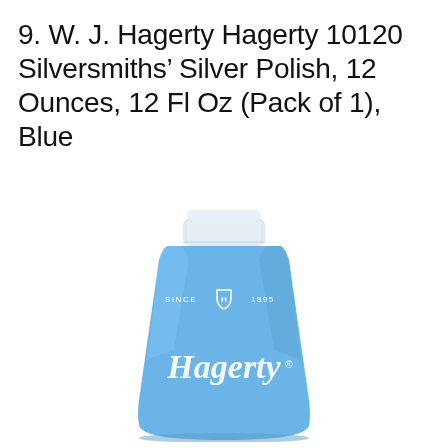9. W. J. Hagerty Hagerty 10120 Silversmiths' Silver Polish, 12 Ounces, 12 Fl Oz (Pack of 1), Blue
[Figure (photo): A blue plastic bottle of Hagerty Silversmiths' Silver Polish with a white screw cap. The bottle has the Hagerty logo in white cursive script and reads 'SINCE H 1895' with a crest emblem on the upper portion of the bottle.]